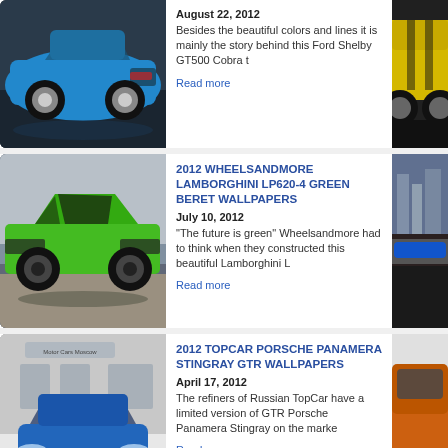[Figure (photo): Blue Ford Shelby GT500 Cobra car, rear three-quarter view]
August 22, 2012
Besides the beautiful colors and lines it is mainly the story behind this Ford Shelby GT500 Cobra t
Read more
[Figure (photo): Yellow Chevrolet Camaro, side view, partially visible]
[Figure (photo): Green Lamborghini LP620-4, side view]
2012 WHEELSANDMORE LAMBORGHINI LP620-4 GREEN BERET WALLPAPERS
July 10, 2012
"The future is green" Wheelsandmore had to think when they constructed this beautiful Lamborghini L
Read more
[Figure (photo): Blue racing car on Monaco circuit track, partially visible]
[Figure (photo): Blue Porsche Panamera Stingray GTR front view outside building]
2012 TOPCAR PORSCHE PANAMERA STINGRAY GTR WALLPAPERS
April 17, 2012
The refiners of Russian TopCar have a limited version of GTR Porsche Panamera Stingray on the marke
Read more
[Figure (photo): Orange SUV, side view, partially visible]